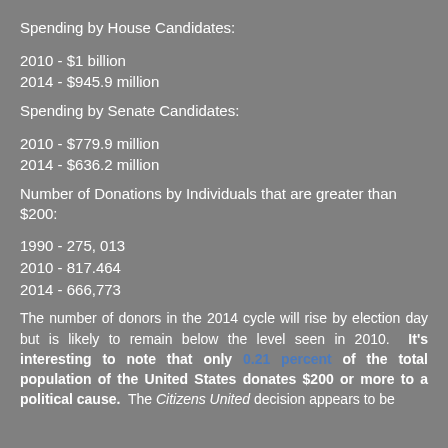Spending by House Candidates:
2010 - $1 billion
2014 - $945.9 million
Spending by Senate Candidates:
2010 - $779.9 million
2014 - $636.2 million
Number of Donations by Individuals that are greater than $200:
1990 - 275, 013
2010 - 817.464
2014 - 666,773
The number of donors in the 2014 cycle will rise by election day but is likely to remain below the level seen in 2010.  It's interesting to note that only 0.21 percent of the total population of the United States donates $200 or more to a political cause.  The Citizens United decision appears to be